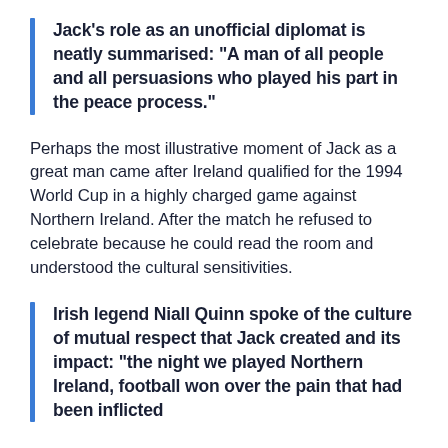Jack's role as an unofficial diplomat is neatly summarised: “A man of all people and all persuasions who played his part in the peace process.”
Perhaps the most illustrative moment of Jack as a great man came after Ireland qualified for the 1994 World Cup in a highly charged game against Northern Ireland. After the match he refused to celebrate because he could read the room and understood the cultural sensitivities.
Irish legend Niall Quinn spoke of the culture of mutual respect that Jack created and its impact: “the night we played Northern Ireland, football won over the pain that had been inflicted